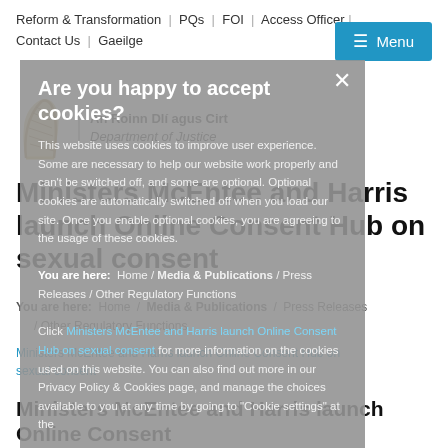Reform & Transformation | PQs | FOI | Access Officer | Contact Us | Gaeilge
[Figure (logo): An Roinn Dlí agus Cirt / Department of Justice harp logo with Irish and English text]
Ministers McEntee and Harris launch Online Consent Hub on sexual consent
You are here: Home / Media & Publications / Press Releases / Other Regulatory Functions
Ministers McEntee and Harris launch Online Consent Hub on sexual consent
[Figure (screenshot): Cookie consent modal overlay: 'Are you happy to accept cookies?' with body text about cookie usage, Privacy Policy link, and cookie settings link.]
Ministers McEntee and Harris launch Online Consent Hub on sexual consent